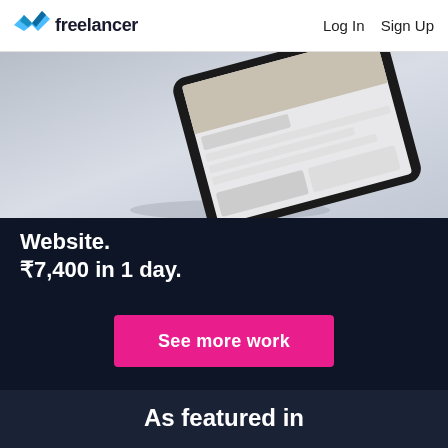Freelancer  Log In  Sign Up
[Figure (photo): A tablet device shown at an angle displaying a website/portfolio page, on a light grey gradient background]
Website.
₹7,400 in 1 day.
See more work
As featured in